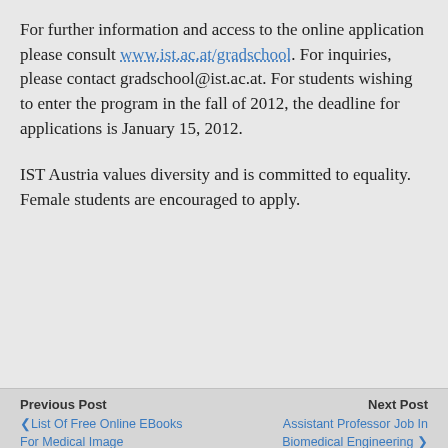For further information and access to the online application please consult www.ist.ac.at/gradschool. For inquiries, please contact gradschool@ist.ac.at. For students wishing to enter the program in the fall of 2012, the deadline for applications is January 15, 2012.
IST Austria values diversity and is committed to equality. Female students are encouraged to apply.
Previous Post | List Of Free Online EBooks For Medical Image ... | Next Post | Assistant Professor Job In Biomedical Engineering >